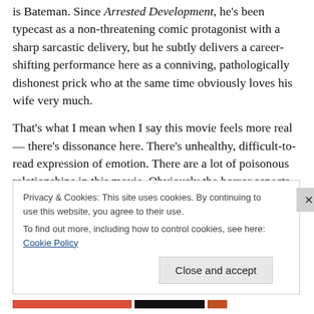is Bateman. Since Arrested Development, he's been typecast as a non-threatening comic protagonist with a sharp sarcastic delivery, but he subtly delivers a career-shifting performance here as a conniving, pathologically dishonest prick who at the same time obviously loves his wife very much.
That's what I mean when I say this movie feels more real — there's dissonance here. There's unhealthy, difficult-to-read expression of emotion. There are a lot of poisonous relationships in this movie. Obviously the horror aspects become primarily about that, as in most scary movies, but
Privacy & Cookies: This site uses cookies. By continuing to use this website, you agree to their use.
To find out more, including how to control cookies, see here: Cookie Policy